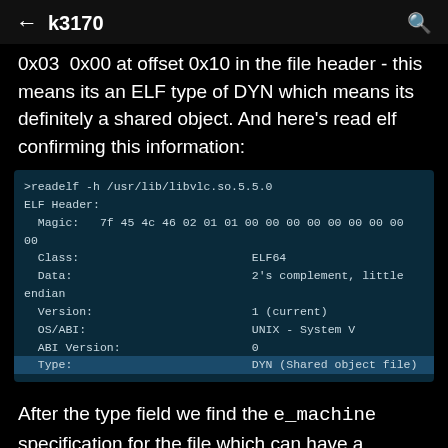← k3170  🔍
0x03  0x00 at offset 0x10 in the file header - this means its an ELF type of DYN which means its definitely a shared object. And here's read elf confirming this information:
[Figure (screenshot): Terminal output of 'readelf -h /usr/lib/libvlc.so.5.5.0' showing ELF Header fields including Magic, Class (ELF64), Data (2's complement, little endian), Version (1 current), OS/ABI (UNIX - System V), ABI Version (0), and Type (DYN Shared object file) highlighted.]
After the type field we find the e_machine specification for the file which can have a number of